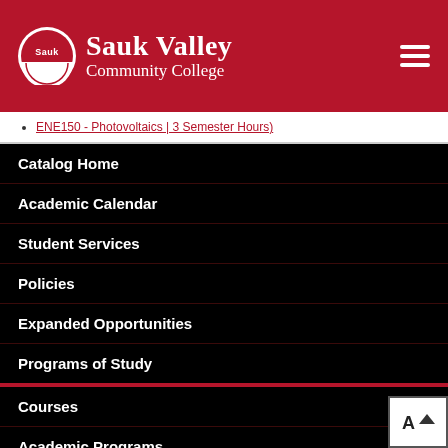Sauk Valley Community College
ENE150 - Photovoltaics | 3 Semester Hours)
Catalog Home
Academic Calendar
Student Services
Policies
Expanded Opportunities
Programs of Study
Courses
Academic Programs
Updates and Clarifications to 2022-2023 catalog